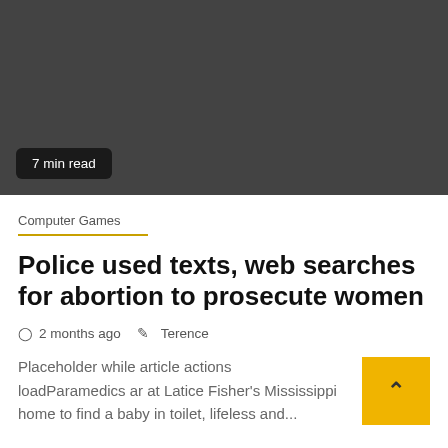[Figure (photo): Dark gray placeholder image area for article thumbnail]
7 min read
Computer Games
Police used texts, web searches for abortion to prosecute women
2 months ago   Terence
Placeholder while article actions loadParamedics ar at Latice Fisher's Mississippi home to find a baby in toilet, lifeless and...